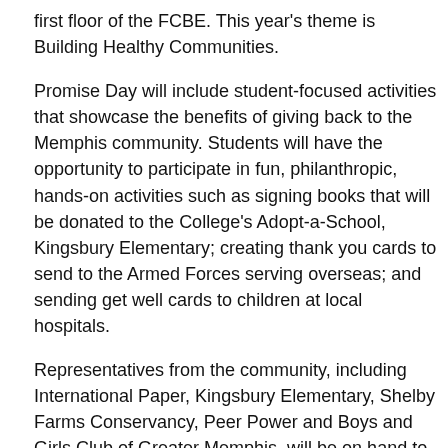first floor of the FCBE. This year's theme is Building Healthy Communities.
Promise Day will include student-focused activities that showcase the benefits of giving back to the Memphis community. Students will have the opportunity to participate in fun, philanthropic, hands-on activities such as signing books that will be donated to the College's Adopt-a-School, Kingsbury Elementary; creating thank you cards to send to the Armed Forces serving overseas; and sending get well cards to children at local hospitals.
Representatives from the community, including International Paper, Kingsbury Elementary, Shelby Farms Conservancy, Peer Power and Boys and Girls Club of Greater Memphis, will be on hand to support the Promise Day purpose.
Promise Day is a celebration of the Complete Professional Program, which strives to help business majors succeed in